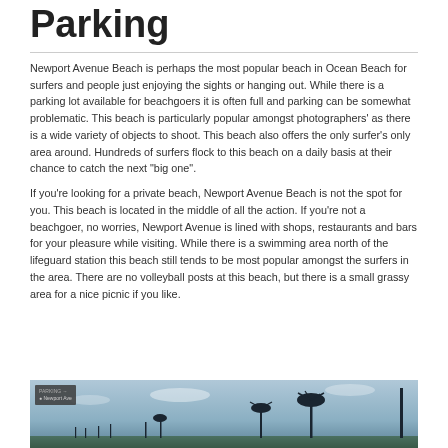Parking
Newport Avenue Beach is perhaps the most popular beach in Ocean Beach for surfers and people just enjoying the sights or hanging out. While there is a parking lot available for beachgoers it is often full and parking can be somewhat problematic. This beach is particularly popular amongst photographers’ as there is a wide variety of objects to shoot. This beach also offers the only surfer’s only area around. Hundreds of surfers flock to this beach on a daily basis at their chance to catch the next “big one”.
If you’re looking for a private beach, Newport Avenue Beach is not the spot for you. This beach is located in the middle of all the action. If you’re not a beachgoer, no worries, Newport Avenue is lined with shops, restaurants and bars for your pleasure while visiting. While there is a swimming area north of the lifeguard station this beach still tends to be most popular amongst the surfers in the area. There are no volleyball posts at this beach, but there is a small grassy area for a nice picnic if you like.
[Figure (photo): Beach scene with palm trees silhouetted against a sky, with a map overlay in the top-left corner]